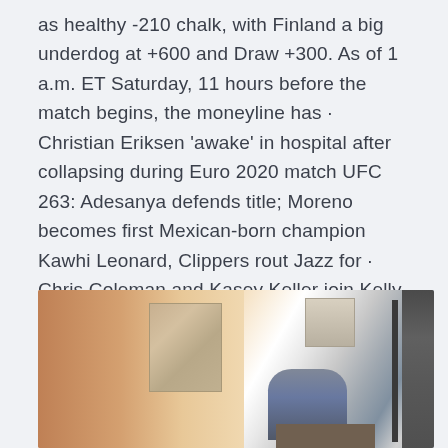as healthy -210 chalk, with Finland a big underdog at +600 and Draw +300. As of 1 a.m. ET Saturday, 11 hours before the match begins, the moneyline has · Christian Eriksen 'awake' in hospital after collapsing during Euro 2020 match UFC 263: Adesanya defends title; Moreno becomes first Mexican-born champion Kawhi Leonard, Clippers rout Jazz for · Chris Coleman and Kasey Keller join Kelly Cates to react to Wales 1-1 draw against Switzerland.
[Figure (photo): Interior photo of a cafe or restaurant space showing warm-toned walls, artwork on walls, hanging light fixtures, large windows, and blurred figures of people seated at a table.]